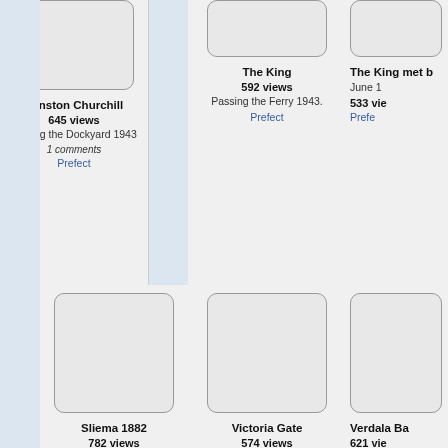[Figure (screenshot): Grid of photo thumbnails from a photo gallery website showing historical Malta photographs]
Winston Churchill
645 views
Touring the Dockyard 1943
1 comments
Prefect
The King
592 views
Passing the Ferry 1943.
Prefect
The King met b...
June 1...
533 vie...
Prefe...
Sliema 1882
782 views
With neo-classical Police Station. Quiz Question: From where was this taken?
10 comments
Prefect
Victoria Gate
574 views
R.Ellis
With drawbridges.
Prefect
Verdala Ba...
621 vie...
R.Elli...
Prefe...
Porta Reale
Ottoman Cemetery
Manoel I...